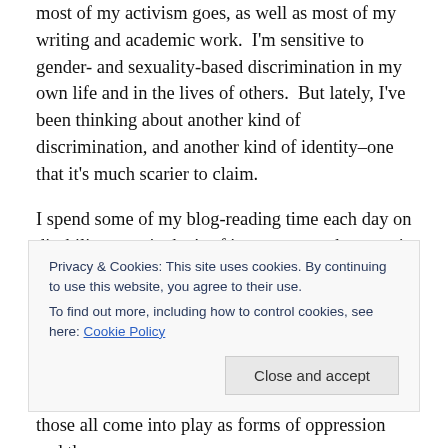most of my activism goes, as well as most of my writing and academic work.  I'm sensitive to gender- and sexuality-based discrimination in my own life and in the lives of others.  But lately, I've been thinking about another kind of discrimination, and another kind of identity–one that it's much scarier to claim.
I spend some of my blog-reading time each day on disability, a topic that's of interest to me because it falls in with so many other oppression- and kyriarchy-related topics, because I don't know enough about it, and because it affects so many of those near and dear to me.
Privacy & Cookies: This site uses cookies. By continuing to use this website, you agree to their use.
To find out more, including how to control cookies, see here: Cookie Policy
Close and accept
those all come into play as forms of oppression and the